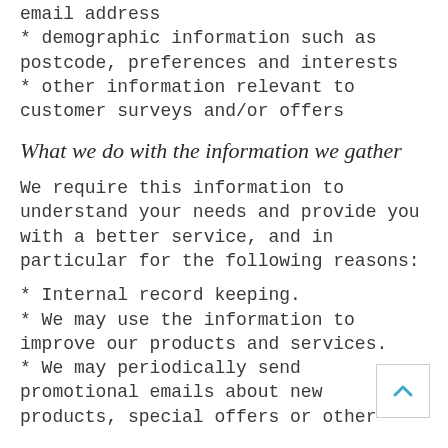email address
* demographic information such as postcode, preferences and interests
* other information relevant to customer surveys and/or offers
What we do with the information we gather
We require this information to understand your needs and provide you with a better service, and in particular for the following reasons:
* Internal record keeping.
* We may use the information to improve our products and services.
* We may periodically send promotional emails about new products, special offers or other